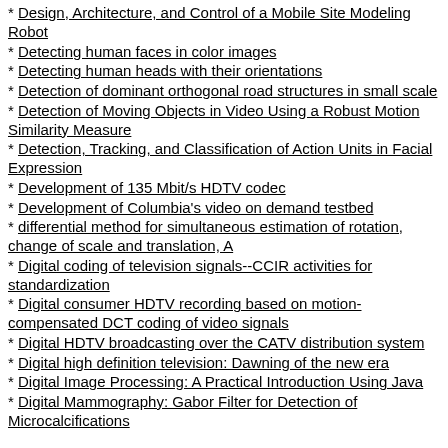Design, Architecture, and Control of a Mobile Site Modeling Robot
Detecting human faces in color images
Detecting human heads with their orientations
Detection of dominant orthogonal road structures in small scale
Detection of Moving Objects in Video Using a Robust Motion Similarity Measure
Detection, Tracking, and Classification of Action Units in Facial Expression
Development of 135 Mbit/s HDTV codec
Development of Columbia's video on demand testbed
differential method for simultaneous estimation of rotation, change of scale and translation, A
Digital coding of television signals--CCIR activities for standardization
Digital consumer HDTV recording based on motion-compensated DCT coding of video signals
Digital HDTV broadcasting over the CATV distribution system
Digital high definition television: Dawning of the new era
Digital Image Processing: A Practical Introduction Using Java
Digital Mammography: Gabor Filter for Detection of Microcalcifications